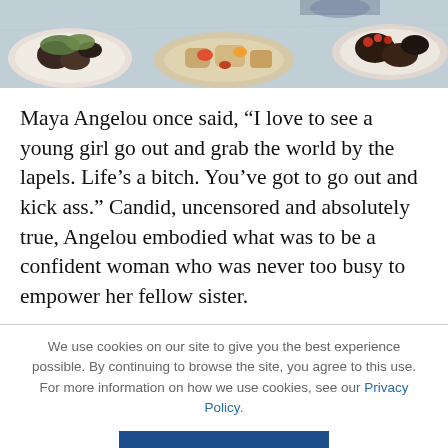[Figure (photo): Top banner photo of a spread of food dishes on a table, showing plates with salads, fruits, bread, and various appetizers]
Maya Angelou once said, “I love to see a young girl go out and grab the world by the lapels. Life’s a bitch. You’ve got to go out and kick ass.” Candid, uncensored and absolutely true, Angelou embodied what was to be a confident woman who was never too busy to empower her fellow sister.
We use cookies on our site to give you the best experience possible. By continuing to browse the site, you agree to this use. For more information on how we use cookies, see our Privacy Policy.
CONTINUE